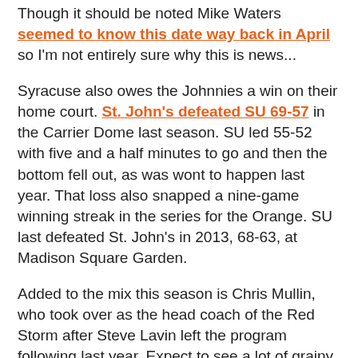Though it should be noted Mike Waters seemed to know this date way back in April so I'm not entirely sure why this is news...
Syracuse also owes the Johnnies a win on their home court. St. John's defeated SU 69-57 in the Carrier Dome last season. SU led 55-52 with five and a half minutes to go and then the bottom fell out, as was wont to happen last year. That loss also snapped a nine-game winning streak in the series for the Orange. SU last defeated St. John's in 2013, 68-63, at Madison Square Garden.
Added to the mix this season is Chris Mullin, who took over as the head coach of the Red Storm after Steve Lavin left the program following last year. Expect to see a lot of grainy photos of Mullin and Pearl Washington going toe-to-toe.